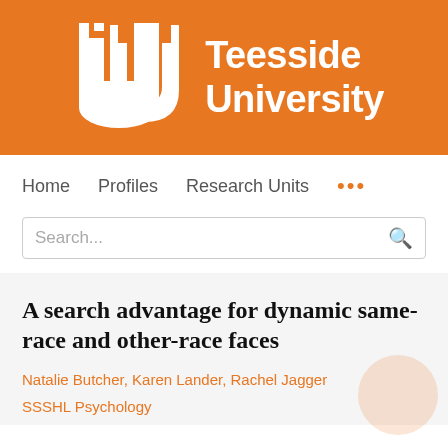[Figure (logo): Teesside University logo: white U-shaped icon on orange background with 'Teesside University' text in white]
Home   Profiles   Research Units   ...
Search...
A search advantage for dynamic same-race and other-race faces
Natalie Butcher, Karen Lander, Rachel Jagger
SSSHL Psychology